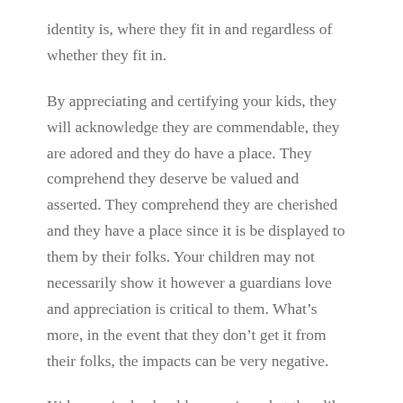identity is, where they fit in and regardless of whether they fit in.
By appreciating and certifying your kids, they will acknowledge they are commendable, they are adored and they do have a place. They comprehend they deserve be valued and asserted. They comprehend they are cherished and they have a place since it is be displayed to them by their folks. Your children may not necessarily show it however a guardians love and appreciation is critical to them. What’s more, in the event that they don’t get it from their folks, the impacts can be very negative.
Kids genuinely should recognize what they like and appreciate about themselves. It is one thing for a parent (or another person) to see the value in them; however the establishments are considerably more strong when your children begin valuing themselves. Ask them